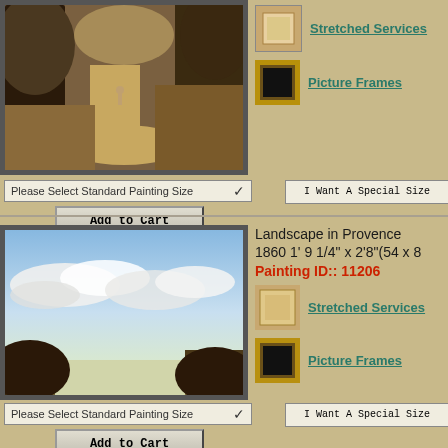[Figure (photo): Framed painting showing a landscape path with trees and figures]
Stretched Services
Picture Frames
Please Select Standard Painting Size
Add to Cart
I Want A Special Size
Landscape in Provence 1860 1' 9 1/4" x 2'8"(54 x 8
Painting ID::  11206
[Figure (photo): Framed painting showing a landscape with sky and clouds]
Stretched Services
Picture Frames
Please Select Standard Painting Size
Add to Cart
I Want A Special Size